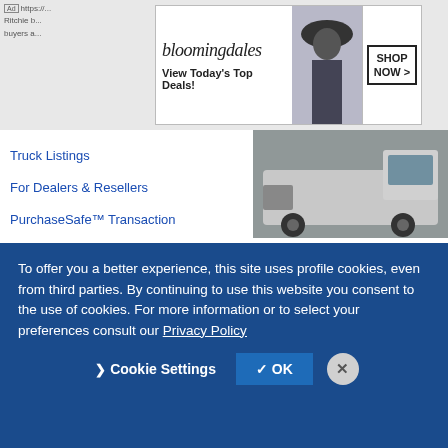[Figure (screenshot): Bloomingdale's advertisement banner: 'View Today's Top Deals!' with SHOP NOW button and woman in hat]
Ad https://... Ritchie b... buyers a...
Truck Listings
For Dealers & Resellers
PurchaseSafe™ Transaction
[Figure (photo): Truck front view photo]
Ready. Set. Van. - Off-Grid Adventure Vans
Ad https://www.readysetvan.com/
Custom camper van conversions built on the East Coast and made to take you anywhere. Our Off-Grid AC package brings comforts of...
Basecamper
Highline
[Figure (photo): Camper van in snowy winter forest setting]
To offer you a better experience, this site uses profile cookies, even from third parties. By continuing to use this website you consent to the use of cookies. For more information or to select your preferences consult our Privacy Policy
Cookie Settings
✓ OK